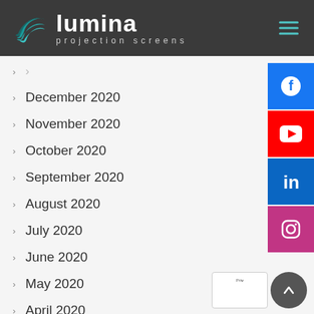[Figure (logo): Lumina Projection Screens logo with teal swirl graphic and white text on dark background header with hamburger menu icon]
December 2020
November 2020
October 2020
September 2020
August 2020
July 2020
June 2020
May 2020
April 2020
March 2020